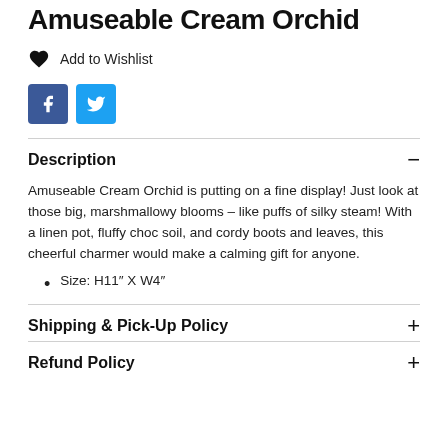Amuseable Cream Orchid
Add to Wishlist
[Figure (other): Facebook and Twitter social share buttons]
Description
Amuseable Cream Orchid is putting on a fine display! Just look at those big, marshmallowy blooms – like puffs of silky steam! With a linen pot, fluffy choc soil, and cordy boots and leaves, this cheerful charmer would make a calming gift for anyone.
Size: H11″ X W4″
Shipping & Pick-Up Policy
Refund Policy